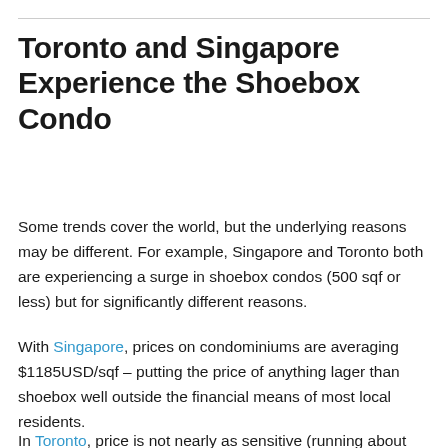Toronto and Singapore Experience the Shoebox Condo
Some trends cover the world, but the underlying reasons may be different. For example, Singapore and Toronto both are experiencing a surge in shoebox condos (500 sqf or less) but for significantly different reasons.
With Singapore, prices on condominiums are averaging $1185USD/sqf – putting the price of anything lager than shoebox well outside the financial means of most local residents.
In Toronto, price is not nearly as sensitive (running about